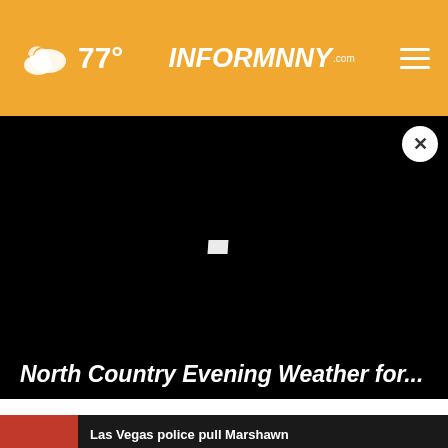77° INFORMNNY.com
[Figure (screenshot): Black video player area with a small white loader/play indicator in the center]
North Country Evening Weather for...
[Figure (screenshot): Red thumbnail image at bottom, partially visible]
Las Vegas police pull Marshawn